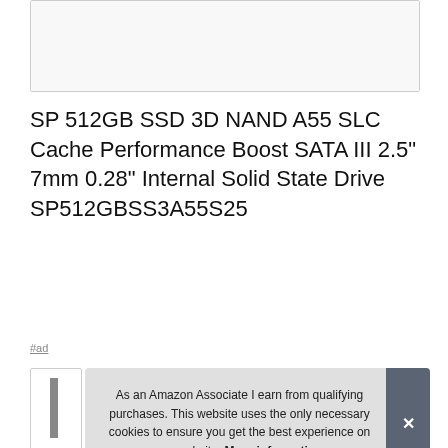[Figure (screenshot): Partial product image box at top of page, white background with light border]
SP 512GB SSD 3D NAND A55 SLC Cache Performance Boost SATA III 2.5" 7mm 0.28" Internal Solid State Drive SP512GBSS3A55S25
#ad
As an Amazon Associate I earn from qualifying purchases. This website uses the only necessary cookies to ensure you get the best experience on our website. More information